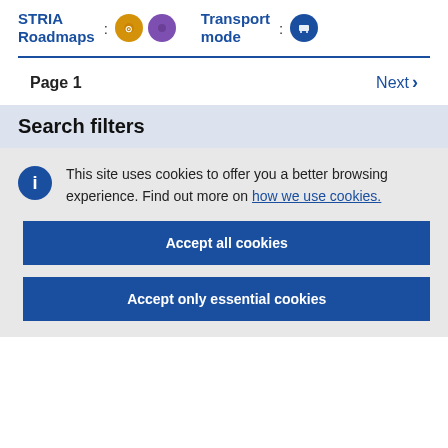STRIA Roadmaps : [icons] Transport mode : [icon]
Page 1
Next >
Search filters
This site uses cookies to offer you a better browsing experience. Find out more on how we use cookies.
Accept all cookies
Accept only essential cookies